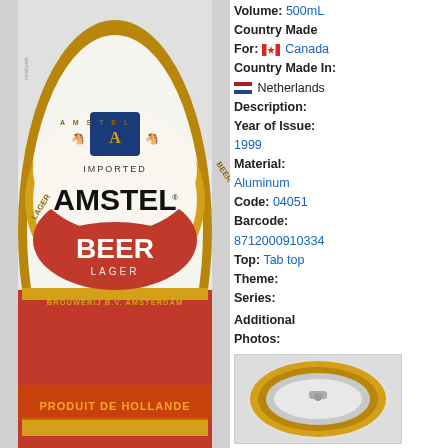[Figure (photo): Amstel Beer Lager can, 500mL, showing AMSTEL BEER LAGER label with gold and red design, IMPORTED text, Brouwerij B.V. Amsterdam, PRODUIT DE HOLLANDE text at bottom]
Volume: 500mL
Country Made For: Canada
Country Made In: Netherlands
Description:
Year of Issue: 1999
Material: Aluminum
Code: 04051
Barcode: 8712000910334
Top: Tab top
Theme:
Series:
Additional Photos:
[Figure (photo): Small thumbnail photo showing top of Amstel beer can with gold/yellow ring]